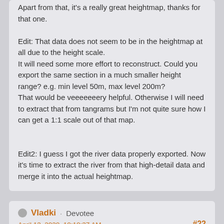Apart from that, it's a really great heightmap, thanks for that one.

Edit: That data does not seem to be in the heightmap at all due to the height scale.
It will need some more effort to reconstruct. Could you export the same section in a much smaller height range? e.g. min level 50m, max level 200m?
That would be veeeeeeery helpful. Otherwise I will need to extract that from tangrams but I'm not quite sure how I can get a 1:1 scale out of that map.

Edit2: I guess I got the river data properly exported. Now it's time to extract the river from that high-detail data and merge it into the actual heightmap.
Vladki · Devotee
April 13, 2020, 10:10:37 AM
#22
Wow, I'm really looking forward to this. The current Stephenson Siemens game is not very playable at the moment due to